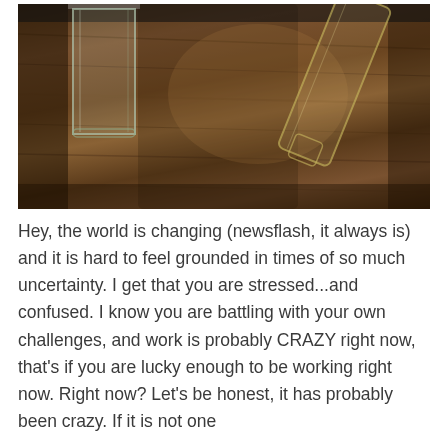[Figure (photo): Two glass bottles/vases on a dark wooden table surface, photographed from above. One rectangular glass bottle is on the left, one tapered/conical glass bottle is on the right, partially cut off. The wooden surface shows grain texture and warm brown tones.]
Hey, the world is changing (newsflash, it always is) and it is hard to feel grounded in times of so much uncertainty. I get that you are stressed...and confused. I know you are battling with your own challenges, and work is probably CRAZY right now, that's if you are lucky enough to be working right now. Right now? Let's be honest, it has probably been crazy. If it is not one